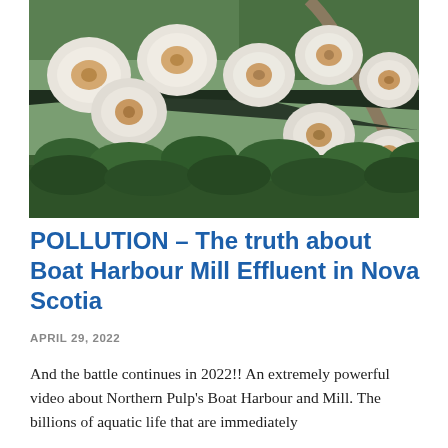[Figure (photo): Aerial photograph of Boat Harbour effluent treatment facility in Nova Scotia showing large white foamy circular aeration ponds surrounded by dark water channels, with green forested areas and a road visible in the background.]
POLLUTION – The truth about Boat Harbour Mill Effluent in Nova Scotia
APRIL 29, 2022
And the battle continues in 2022!! An extremely powerful video about Northern Pulp's Boat Harbour and Mill. The billions of aquatic life that are immediately...